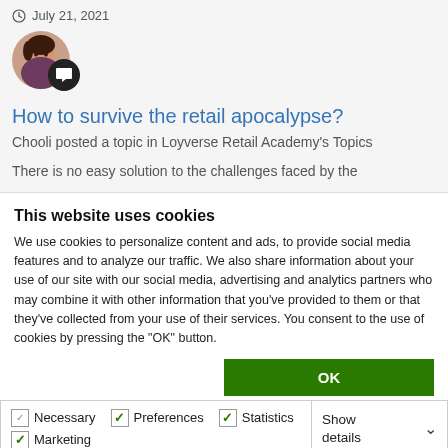July 21, 2021
[Figure (photo): User avatar photo of Chooli with a chat/comment badge icon overlaid]
How to survive the retail apocalypse?
Chooli posted a topic in Loyverse Retail Academy's Topics
There is no easy solution to the challenges faced by the
This website uses cookies
We use cookies to personalize content and ads, to provide social media features and to analyze our traffic. We also share information about your use of our site with our social media, advertising and analytics partners who may combine it with other information that you've provided to them or that they've collected from your use of their services. You consent to the use of cookies by pressing the "OK" button.
OK
Necessary  Preferences  Statistics  Marketing  Show details